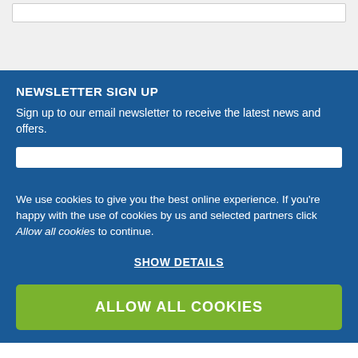NEWSLETTER SIGN UP
Sign up to our email newsletter to receive the latest news and offers.
We use cookies to give you the best online experience. If you're happy with the use of cookies by us and selected partners click Allow all cookies to continue.
SHOW DETAILS
ALLOW ALL COOKIES